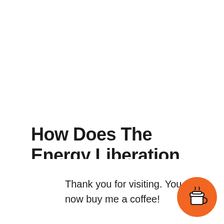How Does The Energy Liberation Army Generator Work?
T... is s... allow f... ro water as a fuel for an engine, which then
Thank you for visiting. You can now buy me a coffee!